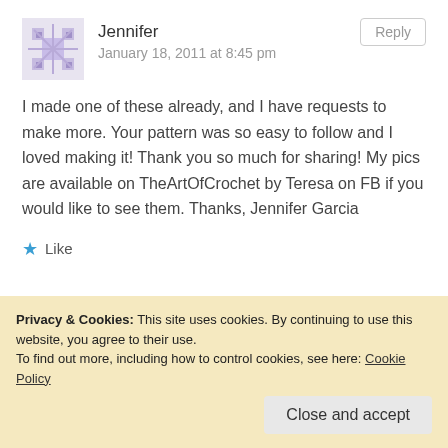[Figure (illustration): Snowflake/geometric avatar icon for Jennifer, purple tones]
Jennifer
January 18, 2011 at 8:45 pm
Reply
I made one of these already, and I have requests to make more. Your pattern was so easy to follow and I loved making it! Thank you so much for sharing! My pics are available on TheArtOfCrochet by Teresa on FB if you would like to see them. Thanks, Jennifer Garcia
Like
[Figure (illustration): Envelope/email avatar icon for Stephanie, orange/brown tones]
Stephanie
Reply
Privacy & Cookies: This site uses cookies. By continuing to use this website, you agree to their use.
To find out more, including how to control cookies, see here: Cookie Policy
Close and accept